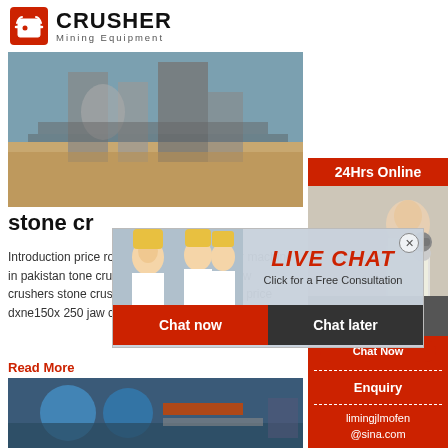[Figure (logo): Crusher Mining Equipment logo with red shopping bag icon and bold CRUSHER text]
[Figure (photo): Industrial stone crusher equipment at a mining site]
stone cr
Introduction price rock s maximum p crusher machine in pakistan tone crusher machi equipment jaw crushers stone crusher pe 250 m equipment price dxne150x 250 jaw crusher. Fu
Read More
[Figure (photo): Industrial machinery with blue cylindrical equipment]
[Figure (infographic): Right sidebar: 24Hrs Online header, customer service agent photo, Need questions & suggestion?, Chat Now button, Enquiry, limingjlmofen@sina.com]
[Figure (infographic): Live Chat popup overlay with workers photo, LIVE CHAT title, Click for a Free Consultation, Chat now and Chat later buttons]